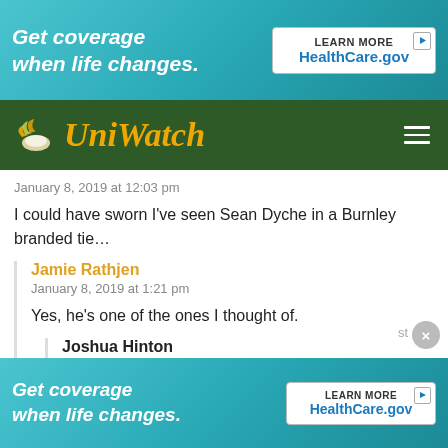[Figure (screenshot): Top advertisement banner: teal/cyan gradient background with text 'Get coverage when life changes.' and a white Learn More box with HealthCare.gov logo]
[Figure (screenshot): UniWatch navigation bar with logo (winged shoe + cursive UniWatch text in gold on dark green background) and hamburger menu]
January 8, 2019 at 12:03 pm
I could have sworn I've seen Sean Dyche in a Burnley branded tie...
Jamie Rathjen
January 8, 2019 at 1:21 pm
Yes, he's one of the ones I thought of.
Joshua Hinton
January 8, 2019 at 5:22 pm
Here he is with the Burnley FC crest in the bottom right corner:
link
[Figure (screenshot): Bottom advertisement banner: teal/cyan gradient background with text 'Get coverage when life changes.' and a white Learn More box with HealthCare.gov logo. Close X button visible on right.]